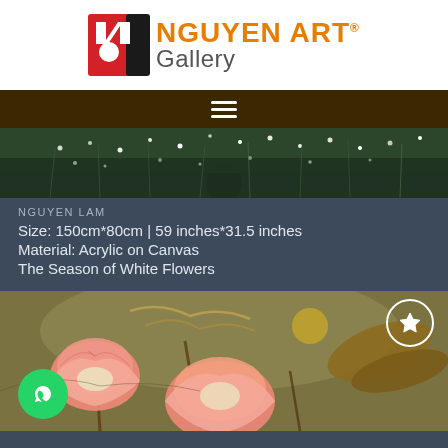[Figure (logo): Nguyen Art Gallery logo with red and black stylized N icon and orange text NGUYEN ART with grey Gallery text]
[Figure (other): Dark brown navigation bar with white hamburger menu icon]
[Figure (photo): Top portion of a painting showing a field of white flowers with dark green foliage - The Season of White Flowers by Nguyen Lam]
NGUYEN LAM
Size: 150cm*80cm | 59 inches*31.5 inches
Material: Acrylic on Canvas
The Season of White Flowers
[Figure (photo): Large lotus flower painting with pink lotus blossoms, golden leaves and stems on a warm olive-green background, with a white circle star/favorite button in top right corner and green WhatsApp button in bottom left corner]